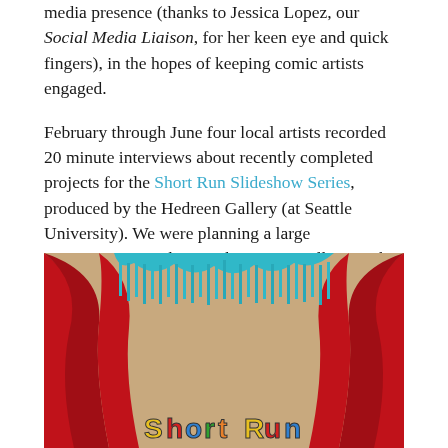media presence (thanks to Jessica Lopez, our Social Media Liaison, for her keen eye and quick fingers), in the hopes of keeping comic artists engaged.
February through June four local artists recorded 20 minute interviews about recently completed projects for the Short Run Slideshow Series, produced by the Hedreen Gallery (at Seattle University). We were planning a large retrospective art show with curator Molly Mac, but when it was postponed for a second time she suggested we make some educational virtual content. We were really excited to feature Megan Kelso, Meredith Li-Vollmer, Lauren Armstrong, and Myra Lara.
[Figure (photo): Photo of a theater-style curtain display with red velvet drapes on the sides, teal/turquoise fringe along the top center, and colorful lettering reading 'Short Run' visible at the bottom of the image against a beige/tan background.]